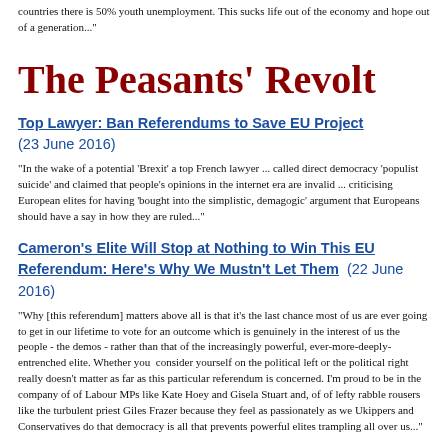countries there is 50% youth unemployment. This sucks life out of the economy and hope out of a generation..."
The Peasants' Revolt
Top Lawyer: Ban Referendums to Save EU Project (23 June 2016)
"In the wake of a potential 'Brexit' a top French lawyer ... called direct democracy 'populist suicide' and claimed that people's opinions in the internet era are invalid ... criticising European elites for having 'bought into the simplistic, demagogic' argument that Europeans should have a say in how they are ruled..."
Cameron's Elite Will Stop at Nothing to Win This EU Referendum: Here's Why We Mustn't Let Them (22 June 2016)
"Why [this referendum] matters above all is that it's the last chance most of us are ever going to get in our lifetime to vote for an outcome which is genuinely in the interest of us the people - the demos - rather than that of the increasingly powerful, ever-more-deeply-entrenched elite. Whether you consider yourself on the political left or the political right really doesn't matter as far as this particular referendum is concerned. I'm proud to be in the company of of Labour MPs like Kate Hoey and Gisela Stuart and, of of lefty rabble rousers like the turbulent priest Giles Frazer because they feel as passionately as we Ukippers and Conservatives do that democracy is all that prevents powerful elites trampling all over us..."
Dr. Herbert London: Brexit Part of Worldwide 'Populist Uprisings' Against Globalist Bureaucracies